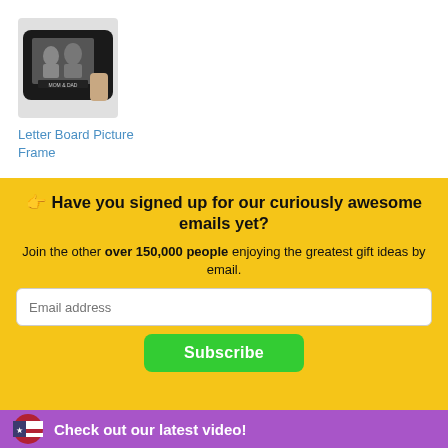[Figure (photo): Product image of a Letter Board Picture Frame — a black pillow-like frame being held, showing a couple photo with text 'MOM & DAD']
Letter Board Picture Frame
👉 Have you signed up for our curiously awesome emails yet?
Join the other over 150,000 people enjoying the greatest gift ideas by email.
Email address
Subscribe
Check out our latest video!